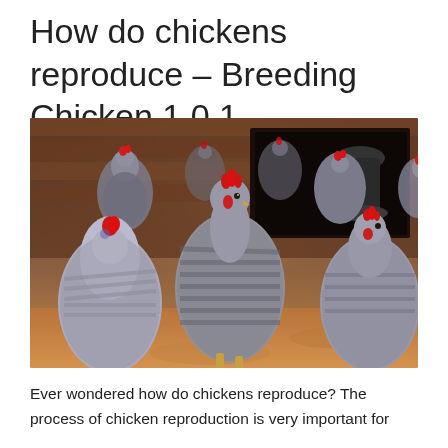How do chickens reproduce – Breeding Chicken 1.0.1
[Figure (photo): A group of barred Plymouth Rock chickens inside a coop, standing on dirt ground with a waterer visible in the background.]
Ever wondered how do chickens reproduce? The process of chicken reproduction is very important for